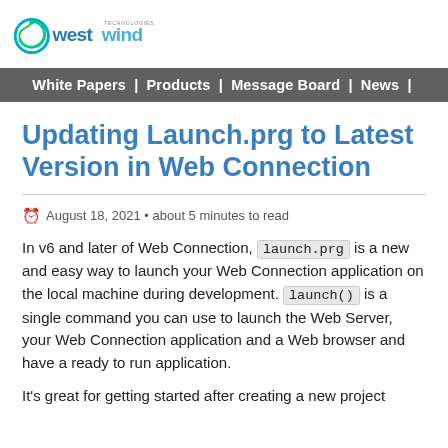[Figure (logo): West Wind Technologies logo with swirl icon and blue/teal text]
White Papers | Products | Message Board | News |
Updating Launch.prg to Latest Version in Web Connection
August 18, 2021 • about 5 minutes to read
In v6 and later of Web Connection, launch.prg is a new and easy way to launch your Web Connection application on the local machine during development. launch() is a single command you can use to launch the Web Server, your Web Connection application and a Web browser and have a ready to run application.
It's great for getting started after creating a new project